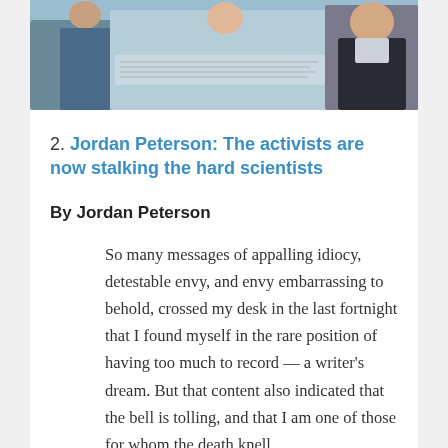[Figure (photo): Photograph of people, partially visible at the top of the page, appearing to be a group including a person in a dark jacket]
2. Jordan Peterson: The activists are now stalking the hard scientists
By Jordan Peterson
So many messages of appalling idiocy, detestable envy, and envy embarrassing to behold, crossed my desk in the last fortnight that I found myself in the rare position of having too much to record — a writer's dream. But that content also indicated that the bell is tolling, and that I am one of those for whom the death knell